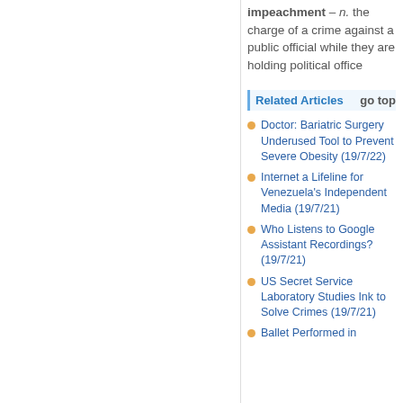impeachment – n. the charge of a crime against a public official while they are holding political office
Related Articles   go top
Doctor: Bariatric Surgery Underused Tool to Prevent Severe Obesity (19/7/22)
Internet a Lifeline for Venezuela's Independent Media (19/7/21)
Who Listens to Google Assistant Recordings? (19/7/21)
US Secret Service Laboratory Studies Ink to Solve Crimes (19/7/21)
Ballet Performed in